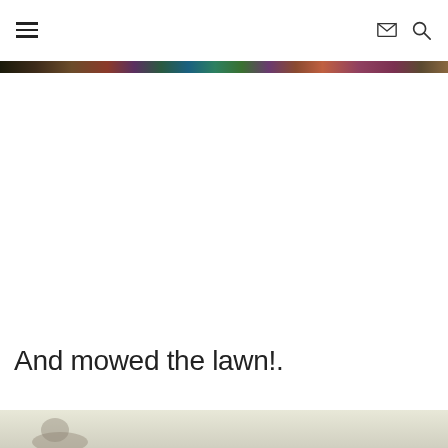Navigation menu, mail icon, search icon
[Figure (photo): A narrow horizontal strip of a colorful photo at the top of the page]
And mowed the lawn!.
[Figure (photo): A partial view of a lawn photo at the bottom of the page]